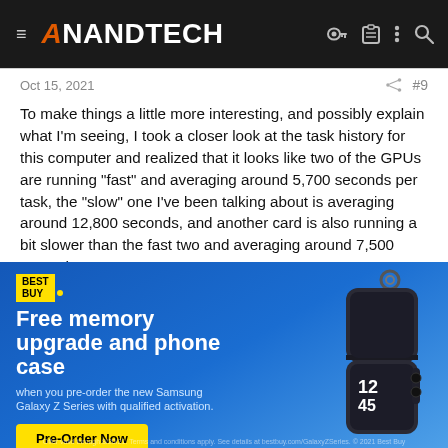≡ AnandTech
Oct 15, 2021 < #9
To make things a little more interesting, and possibly explain what I'm seeing, I took a closer look at the task history for this computer and realized that it looks like two of the GPUs are running "fast" and averaging around 5,700 seconds per task, the "slow" one I've been talking about is averaging around 12,800 seconds, and another card is also running a bit slower than the fast two and averaging around 7,500 seconds.
So based on that, I think what's happening is the two fastest cards
[Figure (advertisement): Best Buy advertisement with blue gradient background. Text reads: Free memory upgrade and phone case when you pre-order the new Samsung Galaxy Z Series with qualified activation. Pre-Order Now button. Image of Samsung Galaxy Z Flip phone on the right.]